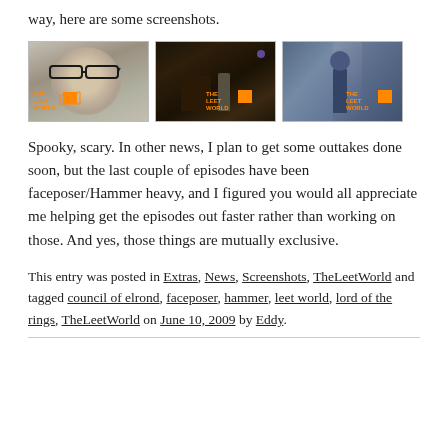way, here are some screenshots.
[Figure (screenshot): Three screenshots from TheLeetWorld, each with a watermark logo. First shows a close-up of a man's face with glasses. Second shows a dark interior scene with a figure. Third shows a figure in a blue-toned environment.]
Spooky, scary. In other news, I plan to get some outtakes done soon, but the last couple of episodes have been faceposer/Hammer heavy, and I figured you would all appreciate me helping get the episodes out faster rather than working on those. And yes, those things are mutually exclusive.
This entry was posted in Extras, News, Screenshots, TheLeetWorld and tagged council of elrond, faceposer, hammer, leet world, lord of the rings, TheLeetWorld on June 10, 2009 by Eddy.